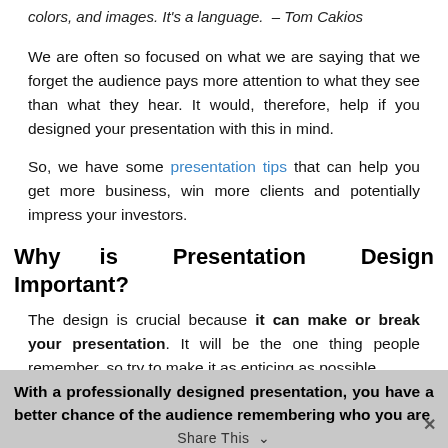colors, and images. It's a language.  – Tom Cakios
We are often so focused on what we are saying that we forget the audience pays more attention to what they see than what they hear. It would, therefore, help if you designed your presentation with this in mind.
So, we have some presentation tips that can help you get more business, win more clients and potentially impress your investors.
Why is Presentation Design Important?
The design is crucial because it can make or break your presentation. It will be the one thing people remember, so try to make it as enticing as possible.
With a professionally designed presentation, you have a better chance of the audience remembering who you are